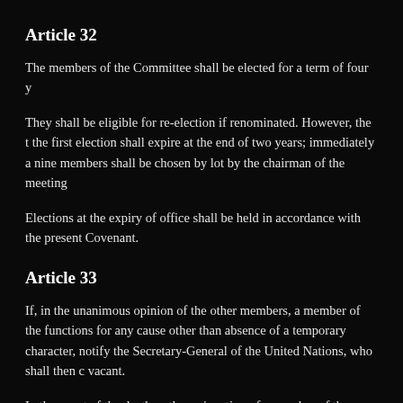Article 32
The members of the Committee shall be elected for a term of four y
They shall be eligible for re-election if renominated. However, the t the first election shall expire at the end of two years; immediately a nine members shall be chosen by lot by the chairman of the meeting
Elections at the expiry of office shall be held in accordance with the present Covenant.
Article 33
If, in the unanimous opinion of the other members, a member of the functions for any cause other than absence of a temporary character, notify the Secretary-General of the United Nations, who shall then c vacant.
In the event of the death or the resignation of a member of the Comm notify the Secretary-General of the United Nations, who shall decla or the date on which the resignation takes effect.
Article 34